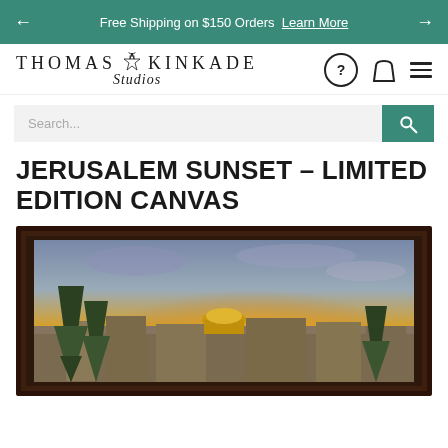Free Shipping on $150 Orders  Learn More
[Figure (logo): Thomas Kinkade Studios logo with lantern icon]
Search...
JERUSALEM SUNSET – LIMITED EDITION CANVAS
[Figure (photo): Framed painting of Jerusalem Sunset by Thomas Kinkade showing the Dome of the Rock at golden sunset with cypress trees]